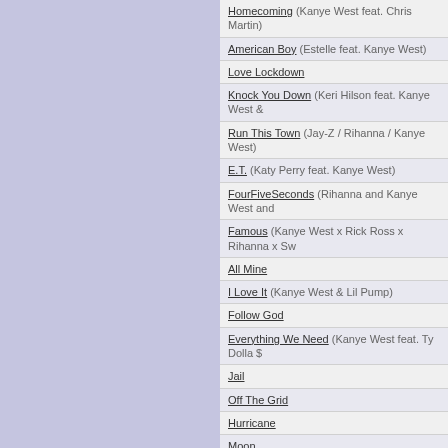Homecoming (Kanye West feat. Chris Martin)
American Boy (Estelle feat. Kanye West)
Love Lockdown
Knock You Down (Keri Hilson feat. Kanye West &
Run This Town (Jay-Z / Rihanna / Kanye West)
E.T. (Katy Perry feat. Kanye West)
FourFiveSeconds (Rihanna and Kanye West and
Famous (Kanye West x Rick Ross x Rihanna x Sw
All Mine
I Love It (Kanye West & Lil Pump)
Follow God
Everything We Need (Kanye West feat. Ty Dolla $
Jail
Off The Grid
Hurricane
Moon
True Love (Kanye West & XXXTentacion)
Albums
| Title |
| --- |
| The College Dropout |
| Late Registration |
| Graduation |
| 808s & Heartbreak |